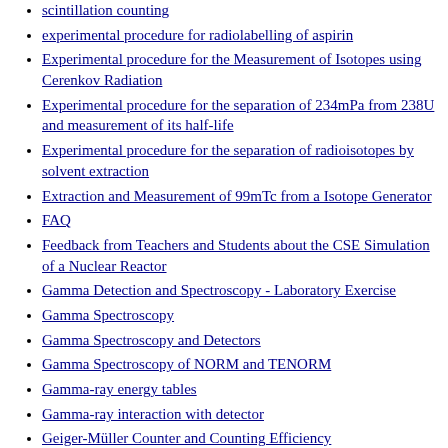scintillation counting
experimental procedure for radiolabelling of aspirin
Experimental procedure for the Measurement of Isotopes using Cerenkov Radiation
Experimental procedure for the separation of 234mPa from 238U and measurement of its half-life
Experimental procedure for the separation of radioisotopes by solvent extraction
Extraction and Measurement of 99mTc from a Isotope Generator
FAQ
Feedback from Teachers and Students about the CSE Simulation of a Nuclear Reactor
Gamma Detection and Spectroscopy - Laboratory Exercise
Gamma Spectroscopy
Gamma Spectroscopy and Detectors
Gamma Spectroscopy of NORM and TENORM
Gamma-ray energy tables
Gamma-ray interaction with detector
Geiger-Müller Counter and Counting Efficiency
General Description of Computing in Science Education (CSE) exercises
Heading1
home
How to Calculate End-of-Irradiation Yields of Ag-isotopes